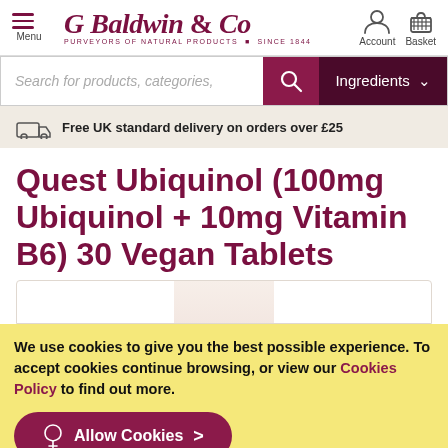G Baldwin & Co — PURVEYORS OF NATURAL PRODUCTS SINCE 1844
Search for products, categories,
Ingredients
Free UK standard delivery on orders over £25
Quest Ubiquinol (100mg Ubiquinol + 10mg Vitamin B6) 30 Vegan Tablets
[Figure (photo): Partial view of a product box/packaging for Quest Ubiquinol tablets]
We use cookies to give you the best possible experience. To accept cookies continue browsing, or view our Cookies Policy to find out more.
Allow Cookies